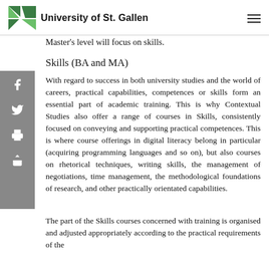University of St. Gallen
Master's level will focus on skills.
Skills (BA and MA)
With regard to success in both university studies and the world of careers, practical capabilities, competences or skills form an essential part of academic training. This is why Contextual Studies also offer a range of courses in Skills, consistently focused on conveying and supporting practical competences. This is where course offerings in digital literacy belong in particular (acquiring programming languages and so on), but also courses on rhetorical techniques, writing skills, the management of negotiations, time management, the methodological foundations of research, and other practically orientated capabilities.
The part of the Skills courses concerned with training is organised and adjusted appropriately according to the practical requirements of the different levels of the degree…